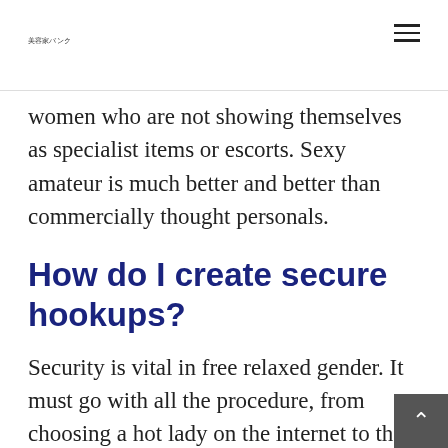美容家バンク
women who are not showing themselves as specialist items or escorts. Sexy amateur is much better and better than commercially thought personals.
How do I create secure hookups?
Security is vital in free relaxed gender. It must go with all the procedure, from choosing a hot lady on the internet to the sex in real. Anything does matter on ro…